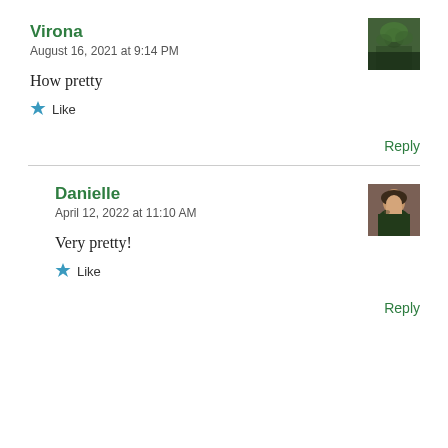Virona
August 16, 2021 at 9:14 PM
How pretty
★ Like
Reply
Danielle
April 12, 2022 at 11:10 AM
Very pretty!
★ Like
Reply